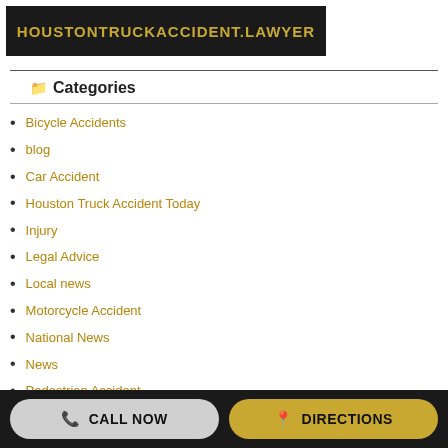[Figure (logo): Dark banner with HOUSTONTRUCKACCIDENT.LAWYER in gold bold text on dark background]
Categories
Bicycle Accidents
blog
Car Accident
Houston Truck Accident Today
Injury
Legal Advice
Local news
Motorcycle Accident
National News
News
Pedestrian Accident
Truck Accident
Wreck
Wrongful Death
Archives
CALL NOW   DIRECTIONS